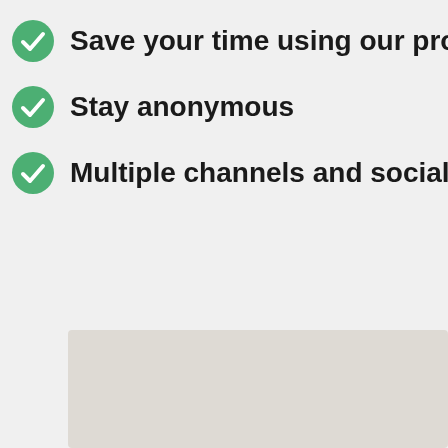Save your time using our proven process
Stay anonymous
Multiple channels and social media reach
[Figure (photo): A large light beige/gray placeholder image block occupying the lower portion of the page]